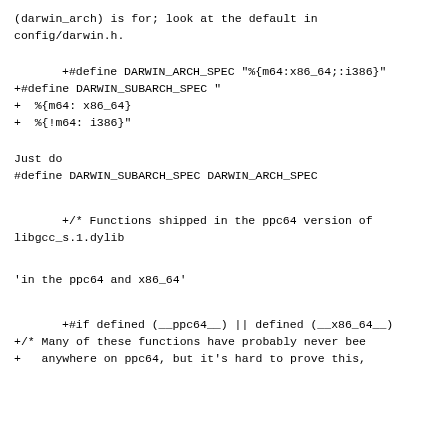(darwin_arch) is for; look at the default in
config/darwin.h.
+#define DARWIN_ARCH_SPEC "%{m64:x86_64;:i386}"
+#define DARWIN_SUBARCH_SPEC "
+  %{m64: x86_64}
+  %{!m64: i386}"
Just do
#define DARWIN_SUBARCH_SPEC DARWIN_ARCH_SPEC
+/* Functions shipped in the ppc64 version of
libgcc_s.1.dylib
'in the ppc64 and x86_64'
+#if defined (__ppc64__) || defined (__x86_64__)
+/* Many of these functions have probably never bee
+   anywhere on ppc64, but it's hard to prove this,